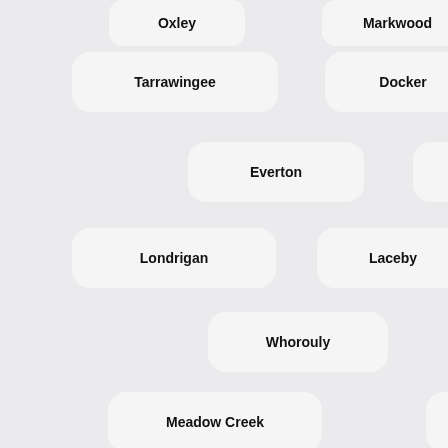Oxley
Markwood
Oxley Flats
Tarrawingee
Docker
Bobinawarrah
Everton
East Wangaratta
Londrigan
Laceby
Everton Upper
Whorouly
Wangaratta
Meadow Creek
Bowmans Forest
Greta
North Wangaratta
Moyhu
Eldorado
Bowser